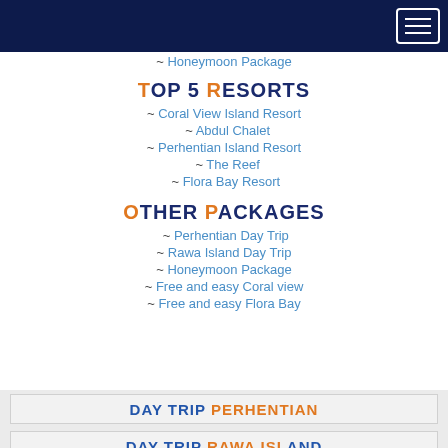Navigation bar with menu button
~ Honeymoon Package
TOP 5 RESORTS
~ Coral View Island Resort
~ Abdul Chalet
~ Perhentian Island Resort
~ The Reef
~ Flora Bay Resort
OTHER PACKAGES
~ Perhentian Day Trip
~ Rawa Island Day Trip
~ Honeymoon Package
~ Free and easy Coral view
~ Free and easy Flora Bay
DAY TRIP PERHENTIAN
DAY TRIP RAWA ISLAND